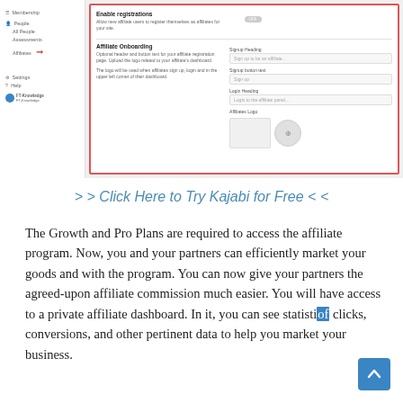[Figure (screenshot): Screenshot of Kajabi Affiliate Settings panel showing Enable Registrations toggle (OFF) and Affiliate Onboarding section with form fields for Signup Heading, Signup Button Text, Login Heading, and Affiliates Logo. Left sidebar shows navigation including Affiliates item highlighted with red border and red arrow. The entire panel is highlighted with a red border.]
> > Click Here to Try Kajabi for Free < <
The Growth and Pro Plans are required to access the affiliate program. Now, you and your partners can efficiently market your goods and with the program. You can now give your partners the agreed-upon affiliate commission much easier. You will have access to a private affiliate dashboard. In it, you can see statistics of clicks, conversions, and other pertinent data to help you market your business.